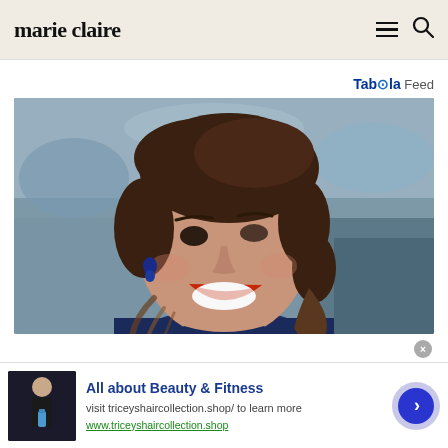marie claire
Taboola Feed
[Figure (photo): Close-up photo of a smiling woman with brown hair in a ponytail, wearing a dark blue collared top and blue earrings, laughing outdoors with a blurred background]
[Figure (photo): Advertisement thumbnail: woman in black outfit holding a blue water bottle]
All about Beauty & Fitness
visit triceyshaircollection.shop/ to learn more
www.triceyshaircollection.shop